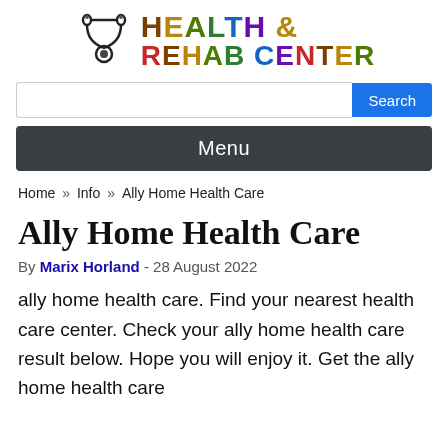[Figure (logo): Stethoscope icon with HEALTH & REHAB CENTER text in multicolor gradient letters]
[Figure (screenshot): Search bar with blue Search button]
[Figure (screenshot): Dark grey Menu navigation bar]
Home » Info » Ally Home Health Care
Ally Home Health Care
By Marix Horland - 28 August 2022
ally home health care. Find your nearest health care center. Check your ally home health care result below. Hope you will enjoy it. Get the ally home health care